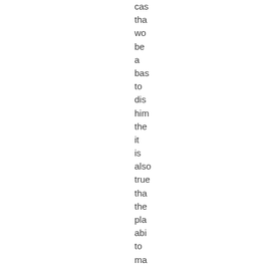cas tha wo be a bas to dis him the it is also true tha the pla abi to ma els elin the